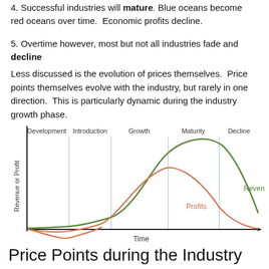4. Successful industries will mature. Blue oceans become red oceans over time. Economic profits decline.
5. Overtime however, most but not all industries fade and decline
Less discussed is the evolution of prices themselves. Price points themselves evolve with the industry, but rarely in one direction. This is particularly dynamic during the industry growth phase.
[Figure (line-chart): Line chart showing Revenue and Profits curves across five industry phases: Development, Introduction, Growth, Maturity, Decline. Revenue peaks in Maturity then declines. Profits peak in Growth/early Maturity then decline, dipping negative in early phases.]
Price Points during the Industry